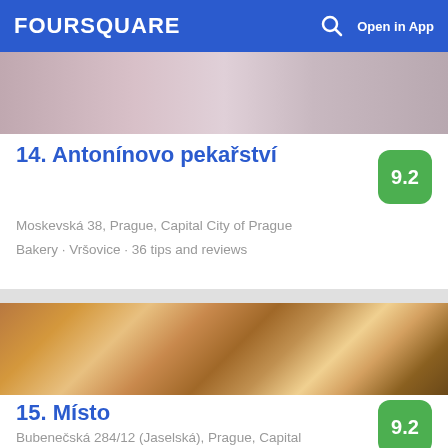FOURSQUARE  Open in App
[Figure (photo): Top portion of a bakery photo, partially visible at the top of the page]
14. Antonínovo pekařství
9.2
Moskevská 38, Prague, Capital City of Prague
Bakery · Vršovice · 36 tips and reviews
[Figure (photo): Photo showing two large beer glasses being held up in a toast, with food and a restaurant interior in the background]
15. Místo
9.2
Bubenečská 284/12 (Jaselská), Prague, Capital